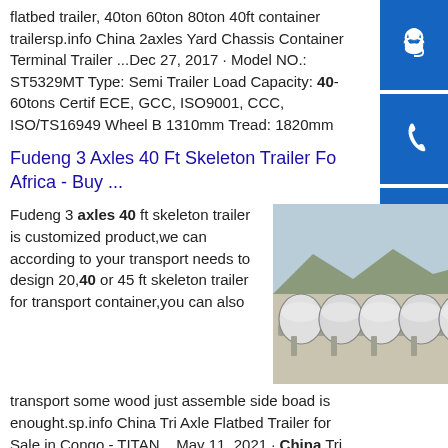flatbed trailer, 40ton 60ton 80ton 40ft container trailersp.info China 2axles Yard Chassis Container Terminal Trailer ...Dec 27, 2017 · Model NO.: ST5329MT Type: Semi Trailer Load Capacity: 40-60tons Certif ECE, GCC, ISO9001, CCC, ISO/TS16949 Wheel B 1310mm Tread: 1820mm
Fudeng 3 Axles 40 Ft Skeleton Trailer Fo Africa - Buy ...
Fudeng 3 axles 40 ft skeleton trailer is customized product,we can according to your transport needs to design 20,40 or 45 ft skeleton trailer for transport container,you can also transport some wood just assemble side boad is enought.sp.info China Tri Axle Flatbed Trailer for Sale in Congo - TITAN ...May 11, 2021 · China Tri Axle Flatbed
[Figure (photo): Photo of large cylindrical tank containers on a flatbed trailer, outdoor industrial setting with mountains/hills in background.]